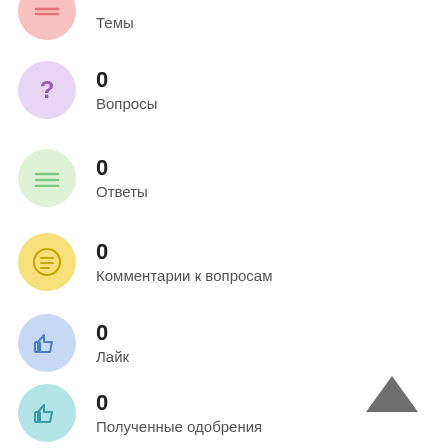Темы
0
Вопросы
0
Ответы
0
Комментарии к вопросам
0
Лайк
0
Полученные одобрения
0
Received Dislikes
0/10